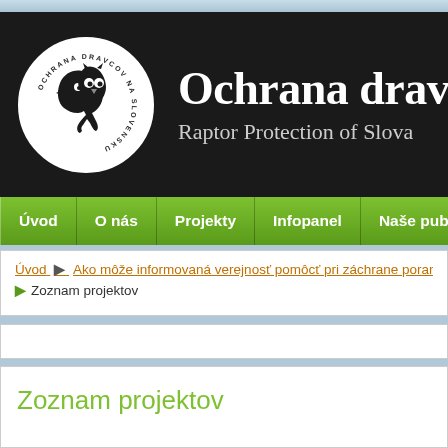[Figure (logo): Circular logo with two raptor bird heads (hawk and owl) in black and white, with text 'OCHRANA DRAVCOV NA SLOVENSKU' around the border]
Ochrana dravco
Raptor Protection of Slova
Úvod | O nás | Projekty | Infopanel | Naše publikácie
Úvod ▶ Ako môže informovaná verejnosť pomôcť pri záchrane poraneného ▶ Zoznam projektov
Zoznam projektov